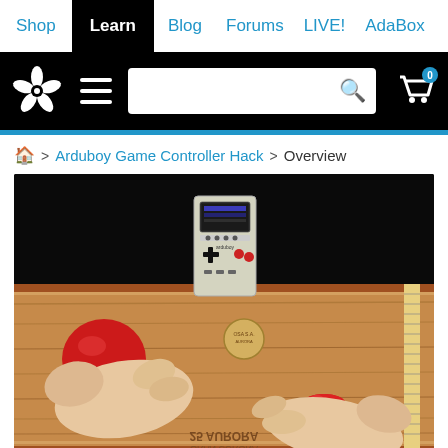Shop | Learn | Blog | Forums | LIVE! | AdaBox
[Figure (screenshot): Adafruit website header with logo, hamburger menu, search bar, and cart icon with 0 badge]
🏠 > Arduboy Game Controller Hack > Overview
[Figure (photo): Photo of hands using an Arduboy game controller built into a cigar box (25 Aurora Gran Corona), with a red joystick on the left and a red arcade button on the right. The Arduboy device stands upright in the center showing its display and face buttons.]